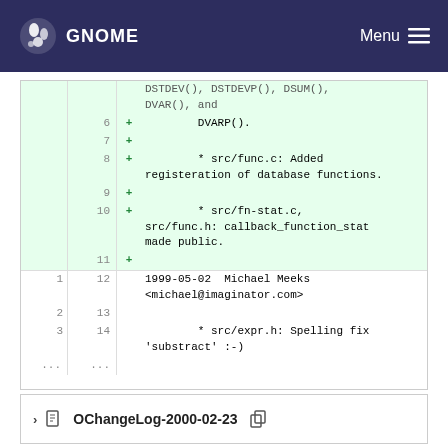GNOME  Menu
[Figure (screenshot): Code diff view showing added lines (6-11) with DVARP(), src/func.c registration, src/fn-stat.c callback_function_stat changes, and normal lines (12-14) with 1999-05-02 Michael Meeks commit and src/expr.h spelling fix]
OChangeLog-2000-02-23